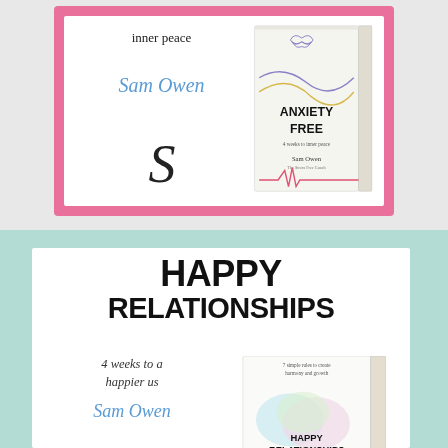[Figure (illustration): Book promotion card with pink border for 'Anxiety Free' book by Sam Owen. Shows subtitle text 'inner peace', author name 'Sam Owen', publisher logo S, and book cover image.]
[Figure (illustration): Book promotion card with teal/mint background for 'Happy Relationships' book by Sam Owen. Shows title 'HAPPY RELATIONSHIPS', subtitle '4 weeks to a happier us', author name 'Sam Owen', and book cover image.]